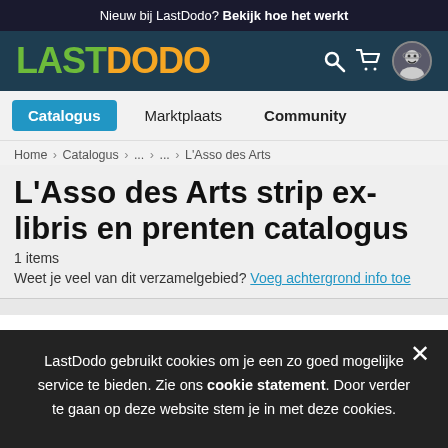Nieuw bij LastDodo? Bekijk hoe het werkt
[Figure (logo): LastDodo logo with LAST in green and DODO in orange, dark teal background navigation bar with search, cart and user avatar icons]
Catalogus   Marktplaats   Community
Home > Catalogus > ... > ... > L'Asso des Arts
L'Asso des Arts strip ex-libris en prenten catalogus
1 items
Weet je veel van dit verzamelgebied? Voeg achtergrond info toe
LastDodo gebruikt cookies om je een zo goed mogelijke service te bieden. Zie ons cookie statement. Door verder te gaan op deze website stem je in met deze cookies.